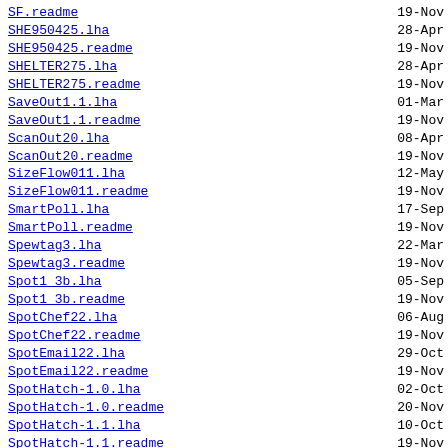SF.readme  19-Nov
SHE950425.lha  28-Apr
SHE950425.readme  19-Nov
SHELTER275.lha  28-Apr
SHELTER275.readme  19-Nov
SaveOut1.1.lha  01-Mar
SaveOut1.1.readme  19-Nov
ScanOut20.lha  08-Apr
ScanOut20.readme  19-Nov
SizeFlow011.lha  12-May
SizeFlow011.readme  19-Nov
SmartPoll.lha  17-Sep
SmartPoll.readme  19-Nov
Spewtag3.lha  22-Mar
Spewtag3.readme  19-Nov
Spot1 3b.lha  05-Sep
Spot1 3b.readme  19-Nov
SpotChef22.lha  06-Aug
SpotChef22.readme  19-Nov
SpotEmail22.lha  29-Oct
SpotEmail22.readme  19-Nov
SpotHatch-1.0.lha  02-Oct
SpotHatch-1.0.readme  20-Nov
SpotHatch-1.1.lha  10-Oct
SpotHatch-1.1.readme  19-Nov
Spot GR.lha  09-Feb
Spot GR.readme  19-Nov
TConf22.lha  06-Sep
TConf22.readme  19-Nov
TD-Poll.lha  02-Oct